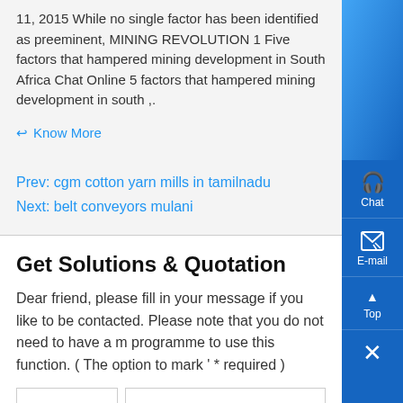11, 2015 While no single factor has been identified as preeminent, MINING REVOLUTION 1 Five factors that hampered mining development in South Africa Chat Online 5 factors that hampered mining development in south ,.
Know More
Prev: cgm cotton yarn mills in tamilnadu
Next: belt conveyors mulani
Get Solutions & Quotation
Dear friend, please fill in your message if you like to be contacted. Please note that you do not need to have a mail programme to use this function. ( The option to mark ' * ' is required )